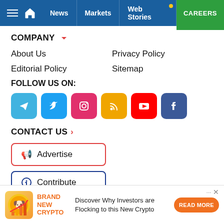News | Markets | Web Stories | CAREERS
COMPANY
About Us
Privacy Policy
Editorial Policy
Sitemap
FOLLOW US ON:
[Figure (infographic): Social media icons: Telegram, Twitter, Instagram, RSS, YouTube, Facebook]
CONTACT US
Advertise
Contribute
[Figure (infographic): Advertisement banner: BRAND NEW CRYPTO - Discover Why Investors are Flocking to this New Crypto - READ MORE button]